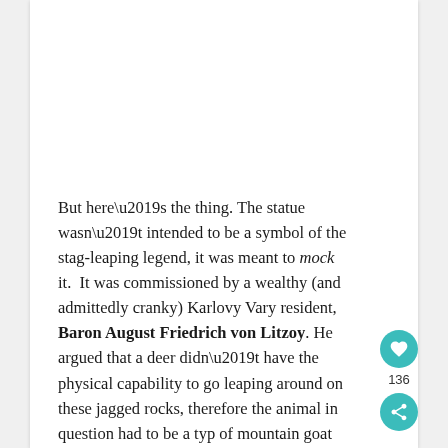But here’s the thing. The statue wasn’t intended to be a symbol of the stag-leaping legend, it was meant to mock it. It was commissioned by a wealthy (and admittedly cranky) Karlovy Vary resident, Baron August Friedrich von Litzoy. He argued that a deer didn’t have the physical capability to go leaping around on these jagged rocks, therefore the animal in question had to be a typ of mountain goat called a a chamois.